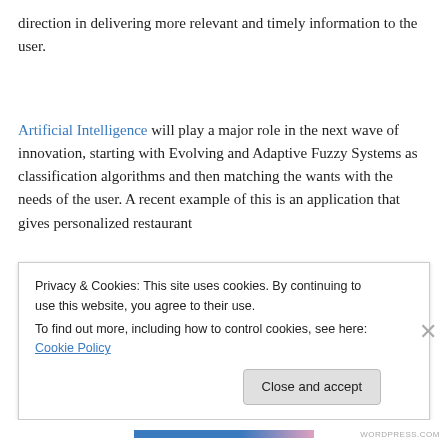direction in delivering more relevant and timely information to the user.
Artificial Intelligence will play a major role in the next wave of innovation, starting with Evolving and Adaptive Fuzzy Systems as classification algorithms and then matching the wants with the needs of the user. A recent example of this is an application that gives personalized restaurant
Privacy & Cookies: This site uses cookies. By continuing to use this website, you agree to their use.
To find out more, including how to control cookies, see here: Cookie Policy